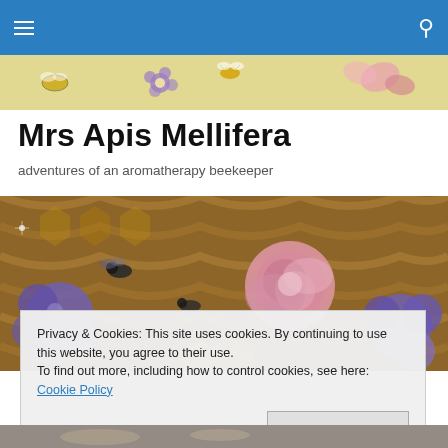Navigation bar with hamburger menu and search icon
[Figure (photo): Decorative banner strip with illustrated bees, flowers and butterflies on a pale yellow/green background]
Mrs Apis Mellifera
adventures of an aromatherapy beekeeper
[Figure (photo): Close-up photograph of honeybees on honeycomb with pink rose and purple hydrangea flowers overlaid]
Privacy & Cookies: This site uses cookies. By continuing to use this website, you agree to their use.
To find out more, including how to control cookies, see here: Cookie Policy
Close and accept